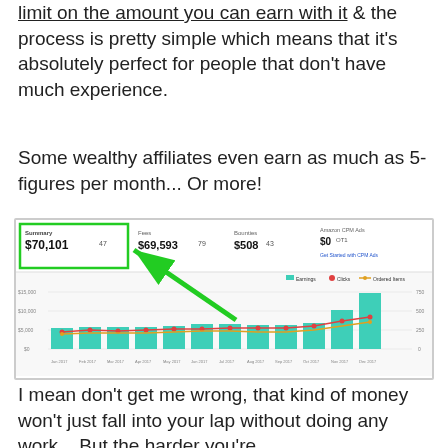limit on the amount you can earn with it & the process is pretty simple which means that it's absolutely perfect for people that don't have much experience.
Some wealthy affiliates even earn as much as 5-figures per month... Or more!
[Figure (screenshot): Amazon affiliate earnings dashboard screenshot showing Summary $70,101, Fees $69,593, Bounties $508, Amazon CPM Ads $0, with a bar and line chart showing monthly earnings growth with teal bars and red/orange lines trending upward. A green arrow points to the summary box.]
I mean don't get me wrong, that kind of money won't just fall into your lap without doing any work... But the harder you're willing to work at it, the more you stand to